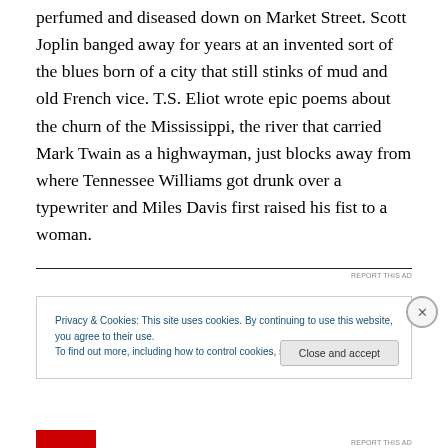perfumed and diseased down on Market Street. Scott Joplin banged away for years at an invented sort of the blues born of a city that still stinks of mud and old French vice. T.S. Eliot wrote epic poems about the churn of the Mississippi, the river that carried Mark Twain as a highwayman, just blocks away from where Tennessee Williams got drunk over a typewriter and Miles Davis first raised his fist to a woman.
REPORT THIS AD
Privacy & Cookies: This site uses cookies. By continuing to use this website, you agree to their use.
To find out more, including how to control cookies, see here: Cookie Policy
Close and accept
REPORT THIS AD